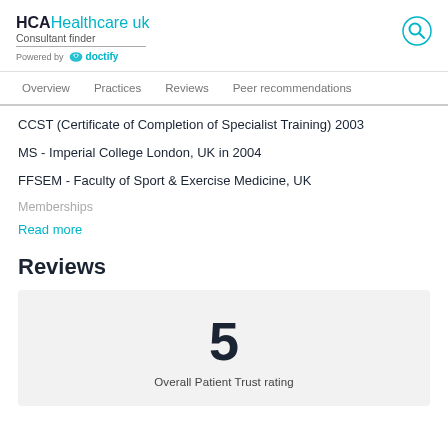HCA Healthcare uk Consultant finder Powered by doctify
Overview   Practices   Reviews   Peer recommendations
CCST (Certificate of Completion of Specialist Training) 2003
MS - Imperial College London, UK in 2004
FFSEM - Faculty of Sport & Exercise Medicine, UK
Memberships
Read more
Reviews
5
Overall Patient Trust rating